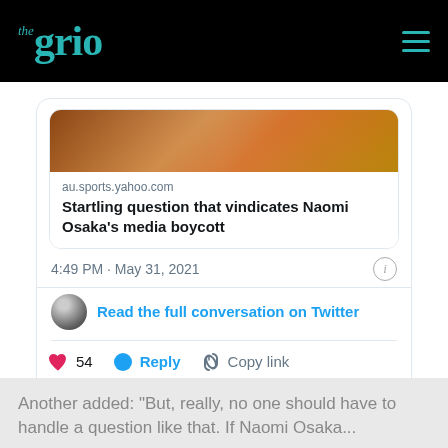the grio
[Figure (screenshot): Embedded Twitter/X tweet card showing a link preview for an article on au.sports.yahoo.com titled 'Startling question that vindicates Naomi Osaka's media boycott', timestamp 4:49 PM · May 31, 2021, with a 'Read the full conversation on Twitter' link, 54 likes, Reply, and Copy link actions, and a 'Read 1 reply' button.]
Another added: “But, really, no one should have to handle a question like that. If Naomi Osaka...